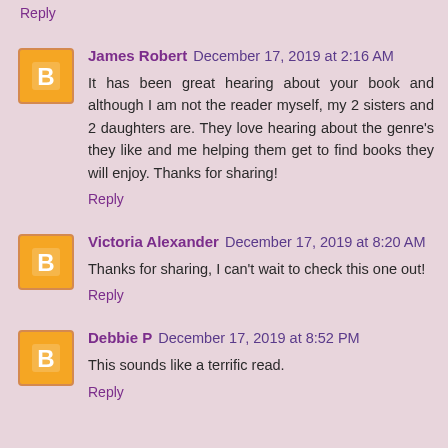Reply
James Robert  December 17, 2019 at 2:16 AM
It has been great hearing about your book and although I am not the reader myself, my 2 sisters and 2 daughters are. They love hearing about the genre's they like and me helping them get to find books they will enjoy. Thanks for sharing!
Reply
Victoria Alexander  December 17, 2019 at 8:20 AM
Thanks for sharing, I can't wait to check this one out!
Reply
Debbie P  December 17, 2019 at 8:52 PM
This sounds like a terrific read.
Reply